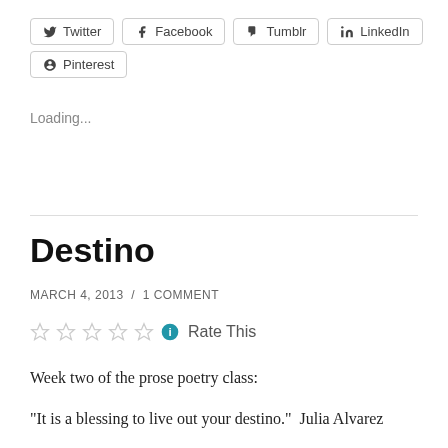[Figure (other): Social sharing buttons: Twitter, Facebook, Tumblr, LinkedIn, Pinterest]
Loading...
Destino
MARCH 4, 2013  /  1 COMMENT
[Figure (other): Five empty star rating icons followed by info icon and Rate This label]
Week two of the prose poetry class:
“It is a blessing to live out your destino.”  Julia Alvarez